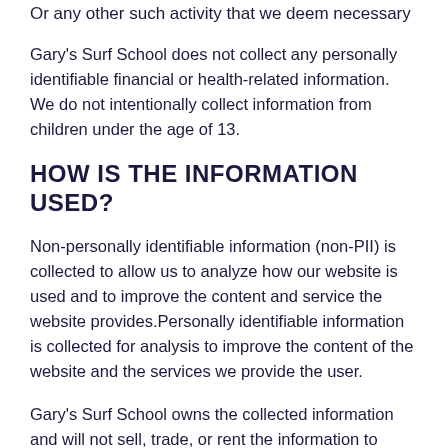Or any other such activity that we deem necessary
Gary's Surf School does not collect any personally identifiable financial or health-related information. We do not intentionally collect information from children under the age of 13.
HOW IS THE INFORMATION USED?
Non-personally identifiable information (non-PII) is collected to allow us to analyze how our website is used and to improve the content and service the website provides.Personally identifiable information is collected for analysis to improve the content of the website and the services we provide the user.
Gary's Surf School owns the collected information and will not sell, trade, or rent the information to others. We may use the information to continue contact with the user. This may include contact such as follow-up calls, e-mail correspondence, or mail correspondence to follow-up on the